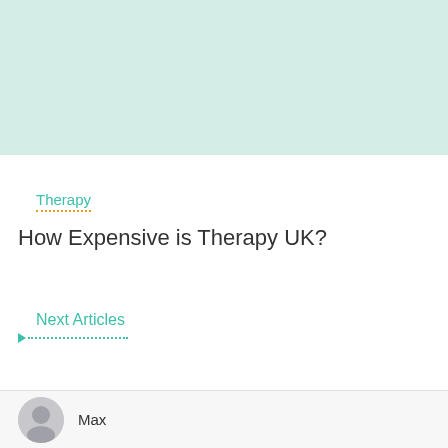[Figure (illustration): Light mint/teal colored rectangular image placeholder at top of page]
Therapy
How Expensive is Therapy UK?
Next Articles
Max